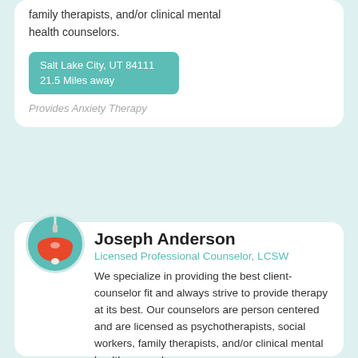family therapists, and/or clinical mental health counselors.
Salt Lake City, UT 84111
21.5 Miles away
Provides Anxiety Therapy
[Figure (illustration): Circular avatar with teal background showing an orange pendant lamp icon]
Joseph Anderson
Licensed Professional Counselor, LCSW
We specialize in providing the best client-counselor fit and always strive to provide therapy at its best. Our counselors are person centered and are licensed as psychotherapists, social workers, family therapists, and/or clinical mental health counselors.
Salt Lake City, UT 84111
21.5 Miles away
Provides Anxiety Therapy